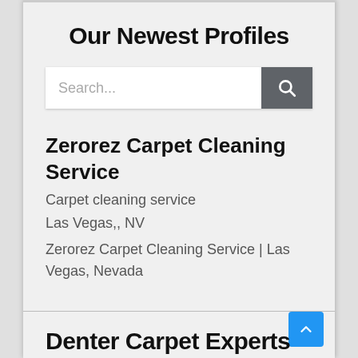Our Newest Profiles
[Figure (screenshot): Search bar with text placeholder 'Search...' and a dark gray search button with magnifying glass icon]
Zerorez Carpet Cleaning Service
Carpet cleaning service
Las Vegas,, NV
Zerorez Carpet Cleaning Service | Las Vegas, Nevada
Denter Cement Experts (partial, cut off)